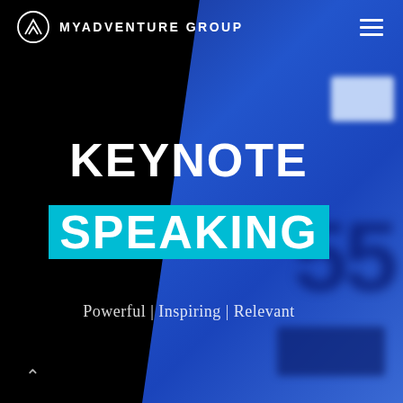[Figure (screenshot): MyAdventure Group keynote speaking landing page. Black background with diagonal blue photo panel on the right showing blurred blue elements. Navigation bar at top with logo and hamburger menu. Large white bold text 'KEYNOTE SPEAKING' in center, 'SPEAKING' highlighted with cyan background. Tagline 'Powerful | Inspiring | Relevant' below. Scroll arrow at bottom left.]
MYADVENTURE GROUP
KEYNOTE SPEAKING
Powerful | Inspiring | Relevant